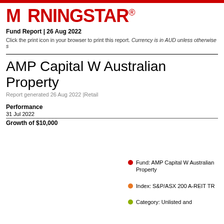[Figure (logo): Morningstar logo in red with registered trademark symbol]
Fund Report | 26 Aug 2022
Click the print icon in your browser to print this report. Currency is in AUD unless otherwise s
AMP Capital W Australian Property
Report generated 26 Aug 2022 |Retail
Performance
31 Jul 2022
Growth of $10,000
Fund: AMP Capital W Australian Property
Index: S&P/ASX 200 A-REIT TR
Category: Unlisted and